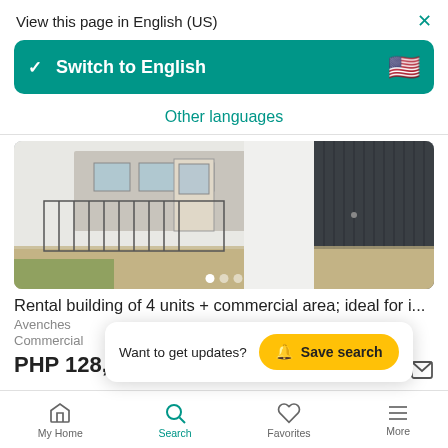View this page in English (US)
Switch to English
Other languages
[Figure (photo): Exterior photo of a two-storey residential/commercial building with metal fence, gate, and dark siding on the right side]
Rental building of 4 units + commercial area; ideal for i...
Avenches
Commercial
PHP 128,475,033
Want to get updates?  Save search
My Home
Search
Favorites
More